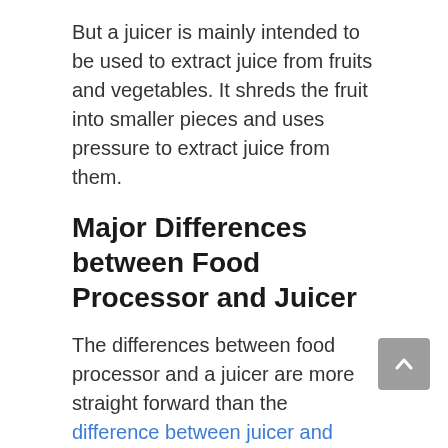But a juicer is mainly intended to be used to extract juice from fruits and vegetables. It shreds the fruit into smaller pieces and uses pressure to extract juice from them.
Major Differences between Food Processor and Juicer
The differences between food processor and a juicer are more straight forward than the difference between juicer and blender. Because these are totally two individual appliances. You may need only one or both.
Types of Food Prepared by Juicer and Food P…